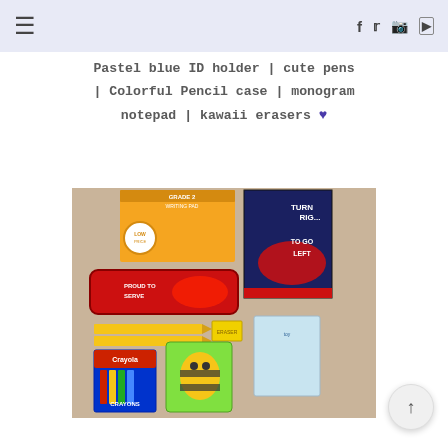Navigation bar with hamburger menu and social icons (Facebook, Twitter, Instagram, YouTube)
Pastel blue ID holder | cute pens | Colorful Pencil case | monogram notepad | kawaii erasers ♥
[Figure (photo): Flat lay photo of school supplies on a tan/beige surface including: an orange Grade 2 writing pad, Cars movie themed pencil case (red with Lightning McQueen), a Cars themed dark blue notebook, two yellow pencils bundled, a yellow eraser, a Crayola crayons box, a bee-shaped pencil sharpener in green packaging, and a toy figure in clear packaging.]
↑ back to top button